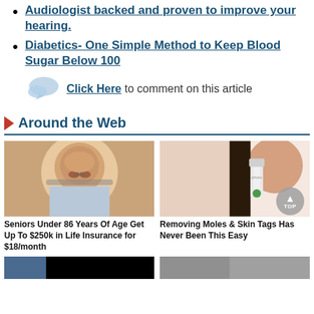Audiologist backed and proven to improve your hearing.
Diabetics- One Simple Method to Keep Blood Sugar Below 100
Click Here to comment on this article
Around the Web
[Figure (photo): Elderly man with glasses - Seniors Under 86 Years Of Age Get Up To $250k in Life Insurance for $18/month]
[Figure (photo): Woman applying something to nose - Removing Moles & Skin Tags Has Never Been This Easy]
Seniors Under 86 Years Of Age Get Up To $250k in Life Insurance for $18/month
Removing Moles & Skin Tags Has Never Been This Easy
[Figure (photo): Partial image bottom left]
[Figure (photo): Partial image bottom right]